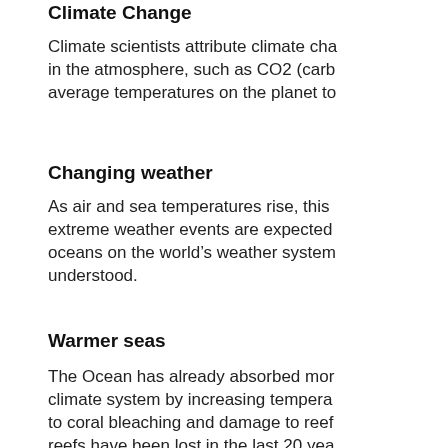Climate Change
Climate scientists attribute climate cha... in the atmosphere, such as CO2 (carb... average temperatures on the planet to...
Changing weather
As air and sea temperatures rise, this extreme weather events are expected oceans on the world’s weather system understood.
Warmer seas
The Ocean has already absorbed mor... climate system by increasing tempera... to coral bleaching and damage to reef reefs have been lost in the last 20 yea... Read about the threats to coral reefs.
Sea Level Rise
Warmer oceans cause sea levels to ris... islands.